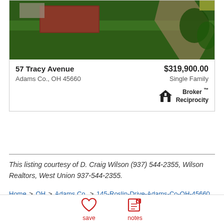[Figure (photo): Aerial/overhead photo of a residential property with green lawn, brick house, and driveway]
57 Tracy Avenue
Adams Co., OH 45660
$319,900.00
Single Family
[Figure (logo): Broker Reciprocity house icon logo with text 'Broker TM Reciprocity']
This listing courtesy of D. Craig Wilson (937) 544-2355, Wilson Realtors, West Union 937-544-2355.
Home > OH > Adams Co. > 145-Roslin-Drive-Adams-Co-OH-45660
save
notes